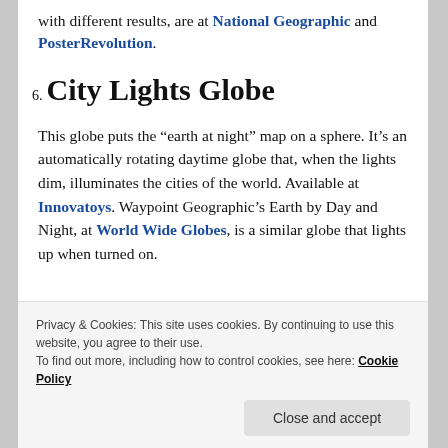with different results, are at National Geographic and PosterRevolution.
6. City Lights Globe
This globe puts the “earth at night” map on a sphere. It’s an automatically rotating daytime globe that, when the lights dim, illuminates the cities of the world. Available at Innovatoys. Waypoint Geographic’s Earth by Day and Night, at World Wide Globes, is a similar globe that lights up when turned on.
Privacy & Cookies: This site uses cookies. By continuing to use this website, you agree to their use. To find out more, including how to control cookies, see here: Cookie Policy
Close and accept